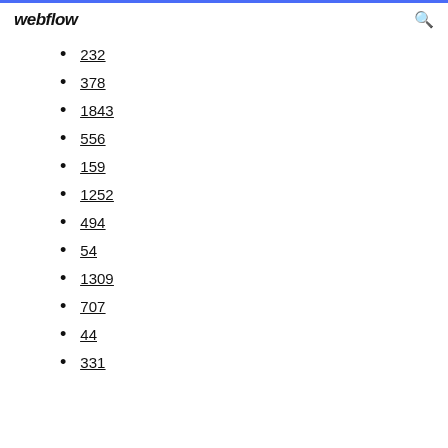webflow
232
378
1843
556
159
1252
494
54
1309
707
44
331